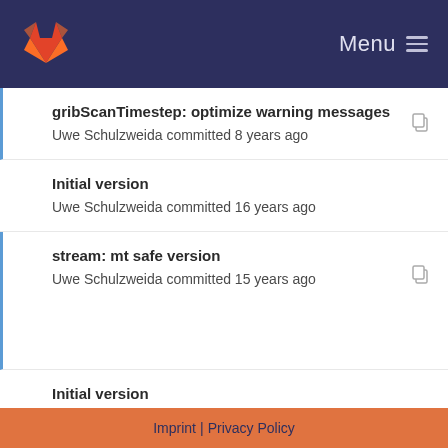GitLab — Menu
gribScanTimestep: optimize warning messages
Uwe Schulzweida committed 8 years ago
Initial version
Uwe Schulzweida committed 16 years ago
stream: mt safe version
Uwe Schulzweida committed 15 years ago
Initial version
Uwe Schulzweida committed 16 years ago
inline streamInqFileID()
Uwe Schulzweida committed 9 years ago
Imprint | Privacy Policy